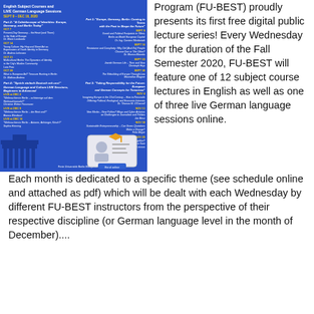[Figure (photo): Blue flyer for FU-BEST program showing English Subject Courses and LIVE German Language Sessions, Fall 2020 schedule with lecture topics organized by month/theme, Brandenburg Gate silhouette, and online enrollment graphic]
Program (FU-BEST) proudly presents its first free digital public lecture series! Every Wednesday for the duration of the Fall Semester 2020, FU-BEST will feature one of 12 subject course lectures in English as well as one of three live German language sessions online. Each month is dedicated to a specific theme (see schedule online and attached as pdf) which will be dealt with each Wednesday by different FU-BEST instructors from the perspective of their respective discipline (or German language level in the month of December)....